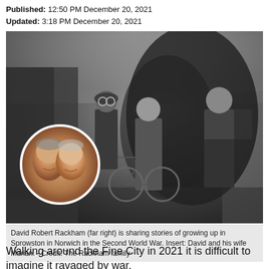Published: 12:50 PM December 20, 2021
Updated: 3:18 PM December 20, 2021
[Figure (photo): Black and white historical photo of three young people outdoors, one on a bicycle, in front of a building. Overlaid circular inset color photo of an elderly man and woman (David and his wife Marian).]
David Robert Rackham (far right) is sharing stories of growing up in Sprowston in Norwich in the Second World War. Insert: David and his wife Marian. - Credit: The Rackham family
Walking around the Fine City in 2021 it is difficult to imagine it ravaged by war.